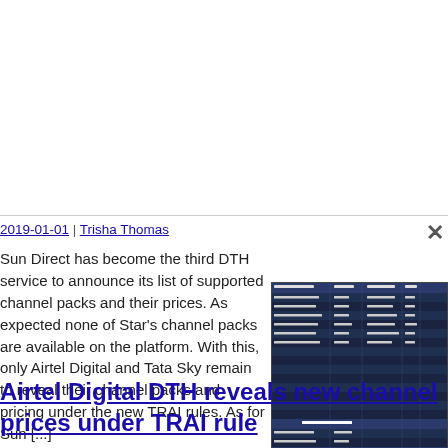2019-01-01 | Trisha Thomas
Sun Direct has become the third DTH service to announce its list of supported channel packs and their prices. As expected none of Star's channel packs are available on the platform. With this, only Airtel Digital and Tata Sky remain to reveal their channel packs and pricing under the new TRAI rules. As for Sun [...]
[Figure (table-as-image): A screenshot of a channel packs list table showing various DTH channel packs and their prices in a dark-themed tabular format with multiple columns]
Airtel Digital DTH reveals new channel prices under TRAI rule